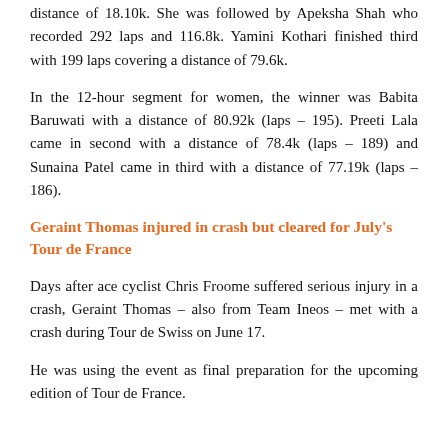distance of 18.10k. She was followed by Apeksha Shah who recorded 292 laps and 116.8k. Yamini Kothari finished third with 199 laps covering a distance of 79.6k.
In the 12-hour segment for women, the winner was Babita Baruwati with a distance of 80.92k (laps – 195). Preeti Lala came in second with a distance of 78.4k (laps – 189) and Sunaina Patel came in third with a distance of 77.19k (laps – 186).
Geraint Thomas injured in crash but cleared for July's Tour de France
Days after ace cyclist Chris Froome suffered serious injury in a crash, Geraint Thomas – also from Team Ineos – met with a crash during Tour de Swiss on June 17.
He was using the event as final preparation for the upcoming edition of Tour de France.